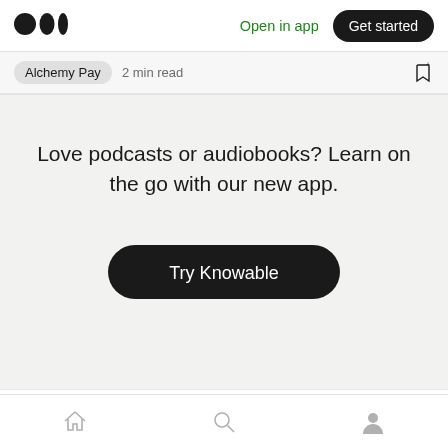Medium logo | Open in app | Get started
Alchemy Pay  2 min read
Love podcasts or audiobooks? Learn on the go with our new app.
[Figure (other): Try Knowable button — black pill-shaped call-to-action button]
Recommended from Medium
Home | Search | Profile navigation icons